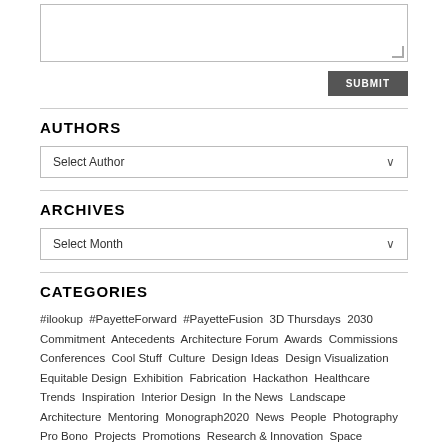[Figure (other): Textarea input box with resize handle in bottom-right corner]
SUBMIT
AUTHORS
Select Author
ARCHIVES
Select Month
CATEGORIES
#ilookup  #PayetteForward  #PayetteFusion  3D Thursdays  2030 Commitment  Antecedents  Architecture Forum  Awards  Commissions  Conferences  Cool Stuff  Culture  Design Ideas  Design Visualization  Equitable Design  Exhibition  Fabrication  Hackathon  Healthcare Trends  Inspiration  Interior Design  In the News  Landscape Architecture  Mentoring  Monograph2020  News  People  Photography  Pro Bono  Projects  Promotions  Research & Innovation  Space Strategies  Sustainable Design  Technology  Tours